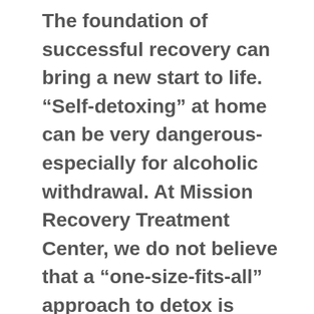The foundation of successful recovery can bring a new start to life. “Self-detoxing” at home can be very dangerous- especially for alcoholic withdrawal. At Mission Recovery Treatment Center, we do not believe that a “one-size-fits-all” approach to detox is appropriate for all residents. Mission Recovery’s program ensures providing each patient individualized evidence-based treatment under 24 x 7 monitoring in a safe and comfortable environment. Our dedicated and expert staff ensures careful intake process,